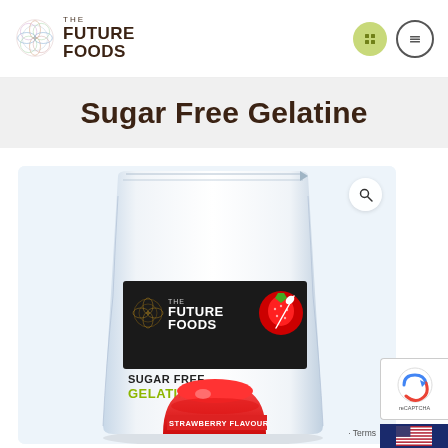[Figure (logo): The Future Foods logo with circular geometric pattern and bold text]
Sugar Free Gelatine
[Figure (photo): The Future Foods Sugar Free Gelatine product package - white pouch with black label showing Future Foods branding, strawberry flavour, with red jelly mould image]